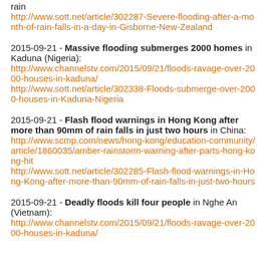rain http://www.sott.net/article/302287-Severe-flooding-after-a-month-of-rain-falls-in-a-day-in-Gisborne-New-Zealand
2015-09-21 - Massive flooding submerges 2000 homes in Kaduna (Nigeria): http://www.channelstv.com/2015/09/21/floods-ravage-over-2000-houses-in-kaduna/ http://www.sott.net/article/302338-Floods-submerge-over-2000-houses-in-Kaduna-Nigeria
2015-09-21 - Flash flood warnings in Hong Kong after more than 90mm of rain falls in just two hours in China: http://www.scmp.com/news/hong-kong/education-community/article/1860035/amber-rainstorm-warning-after-parts-hong-kong-hit http://www.sott.net/article/302285-Flash-flood-warnings-in-Hong-Kong-after-more-than-90mm-of-rain-falls-in-just-two-hours
2015-09-21 - Deadly floods kill four people in Nghe An (Vietnam):